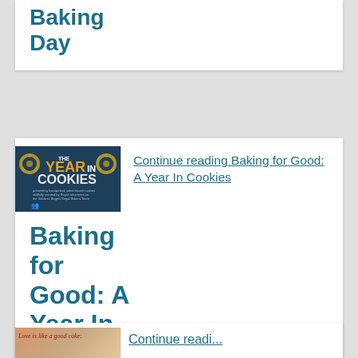Baking Day
[Figure (logo): The Year in Cookies logo - dark blue background with cookie film reel imagery and text]
Continue reading Baking for Good: A Year In Cookies
Baking for Good: A Year In Cookies
[Figure (photo): Partial image of a cake with cursive text 'Love is like a good cake:']
Continue reading